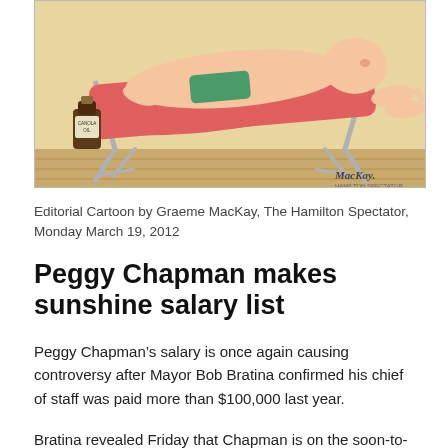[Figure (illustration): Editorial cartoon by Graeme MacKay showing a person lying on a deck chair/lounger in a relaxed pose, with a bottle labeled 'Canola Oil' nearby. The artist's signature 'MacKay' appears in the lower right corner.]
Editorial Cartoon by Graeme MacKay, The Hamilton Spectator, Monday March 19, 2012
Peggy Chapman makes sunshine salary list
Peggy Chapman's salary is once again causing controversy after Mayor Bob Bratina confirmed his chief of staff was paid more than $100,000 last year.
Bratina revealed Friday that Chapman is on the soon-to-be-released 2011 “sunshine list” for public sector employees who made $100,000 or more — even though